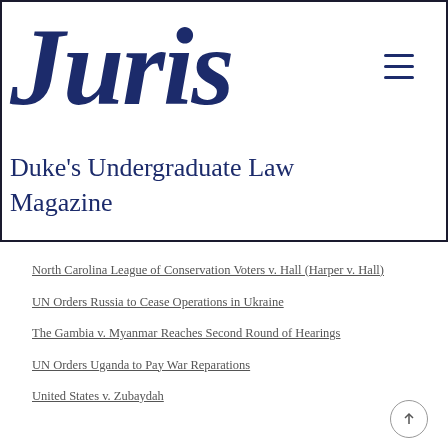Juris
Duke's Undergraduate Law Magazine
North Carolina League of Conservation Voters v. Hall (Harper v. Hall)
UN Orders Russia to Cease Operations in Ukraine
The Gambia v. Myanmar Reaches Second Round of Hearings
UN Orders Uganda to Pay War Reparations
United States v. Zubaydah